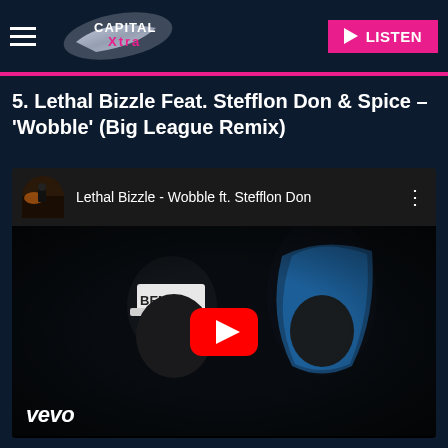[Figure (screenshot): Capital Xtra radio website header with hamburger menu, Capital Xtra logo, and pink LISTEN button]
5. Lethal Bizzle Feat. Stefflon Don & Spice – 'Wobble' (Big League Remix)
[Figure (screenshot): Embedded YouTube video player showing Lethal Bizzle - Wobble ft. Stefflon Don music video with Vevo branding, featuring two people in dark setting, one wearing a BENCH cap, one with blue hair, with YouTube play button overlay]